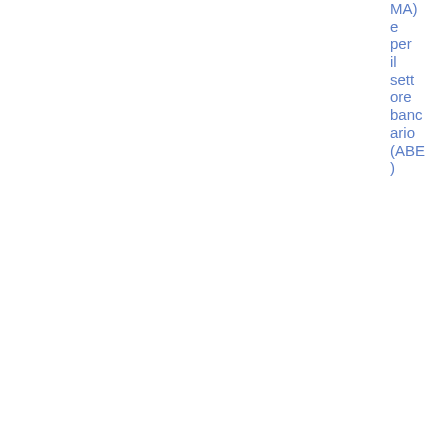MA) e per il settore bancario (ABE)
| Date | Reference | Title | Tags | Document Type | File |
| --- | --- | --- | --- | --- | --- |
| 25/08/2014 | JC/2014/43 lv | Sūdzību izskatīšanas pamatnostādnes vērts papī | Joint Committee / Guidelines and Technical standards | Guidelines & Recommendations | PDF 57.66 KB 15 |